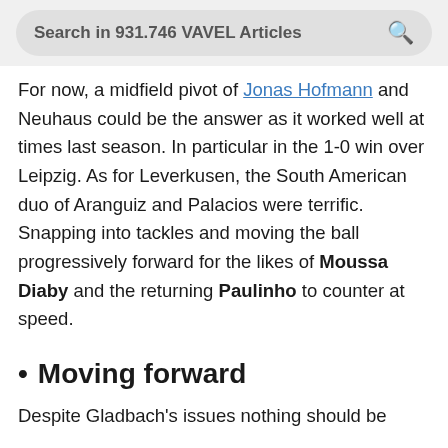Search in 931.746 VAVEL Articles
For now, a midfield pivot of Jonas Hofmann and Neuhaus could be the answer as it worked well at times last season. In particular in the 1-0 win over Leipzig. As for Leverkusen, the South American duo of Aranguiz and Palacios were terrific. Snapping into tackles and moving the ball progressively forward for the likes of Moussa Diaby and the returning Paulinho to counter at speed.
Moving forward
Despite Gladbach's issues nothing should be